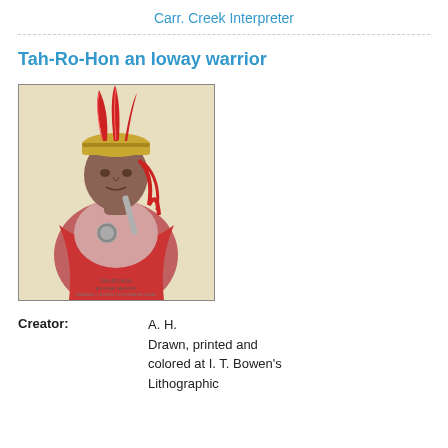Carr. Creek Interpreter
Tah-Ro-Hon an Ioway warrior
[Figure (photo): Portrait painting of Tah-Ro-Hon, an Ioway warrior, wearing a red feathered headdress, red robe, and holding items. Drawn, printed and colored at I. T. Bowen's Lithographic establishment.]
Creator:
A. H.
Drawn, printed and colored at I. T. Bowen's Lithographic